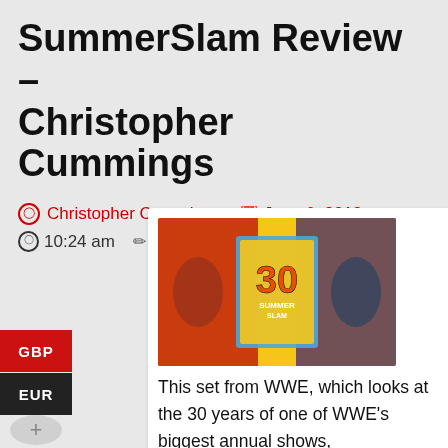SummerSlam Review – Christopher Cummings
Christopher Cummings  June 6, 2019  10:24 am  No Comments
[Figure (photo): WWE SummerSlam 30 Years DVD/Blu-ray set cover with wrestlers and yellow/red branding]
This set from WWE, which looks at the 30 years of one of WWE's biggest annual shows, SummerSlam, does what it says